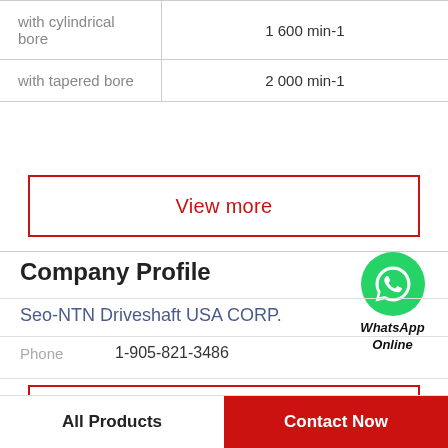|  |  |
| --- | --- |
| with cylindrical bore | 1 600 min-1 |
| with tapered bore | 2 000 min-1 |
View more
Company Profile
Seo-NTN Driveshaft USA CORP.
Phone   1-905-821-3486
View more
All Products
Contact Now